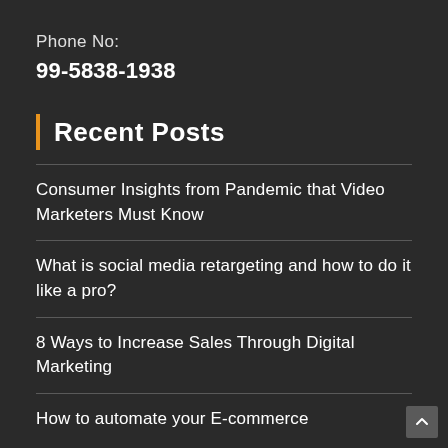Phone No:
99-5838-1938
Recent Posts
Consumer Insights from Pandemic that Video Marketers Must Know
What is social media retargeting and how to do it like a pro?
8 Ways to Increase Sales Through Digital Marketing
How to automate your E-commerce